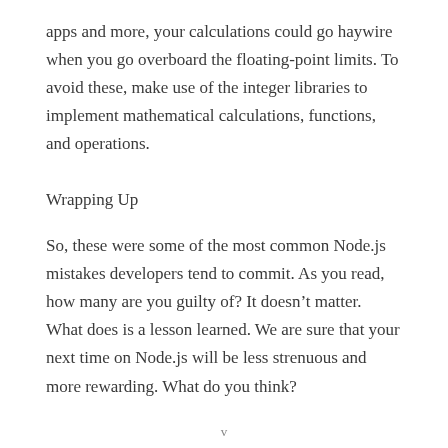apps and more, your calculations could go haywire when you go overboard the floating-point limits. To avoid these, make use of the integer libraries to implement mathematical calculations, functions, and operations.
Wrapping Up
So, these were some of the most common Node.js mistakes developers tend to commit. As you read, how many are you guilty of? It doesn’t matter. What does is a lesson learned. We are sure that your next time on Node.js will be less strenuous and more rewarding. What do you think?
v